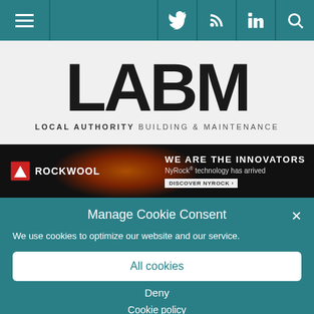[Figure (screenshot): Website navigation bar with hamburger menu icon on the left and social media icons (Twitter, RSS, LinkedIn, Search) on the right, on a teal background]
[Figure (logo): LABM - Local Authority Building & Maintenance logo in large black bold text on light grey background]
[Figure (screenshot): Rockwool advertisement banner: 'WE ARE THE INNOVATORS - NyRock technology has arrived' with orange glow background]
Manage Cookie Consent
We use cookies to optimize our website and our service.
All cookies
Deny
Cookie policy